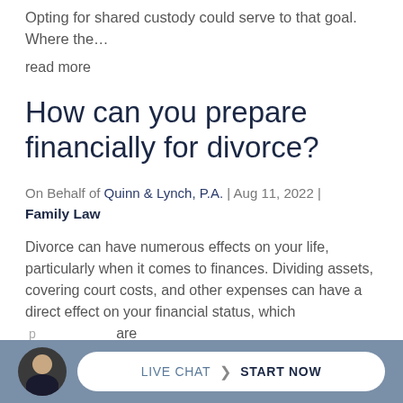Opting for shared custody could serve to that goal. Where the…
read more
How can you prepare financially for divorce?
On Behalf of Quinn & Lynch, P.A. | Aug 11, 2022 | Family Law
Divorce can have numerous effects on your life, particularly when it comes to finances. Dividing assets, covering court costs, and other expenses can have a direct effect on your financial status, which… are
[Figure (other): Live chat widget at bottom of page with attorney avatar, pill-shaped button reading LIVE CHAT › START NOW on a blue-grey bar]